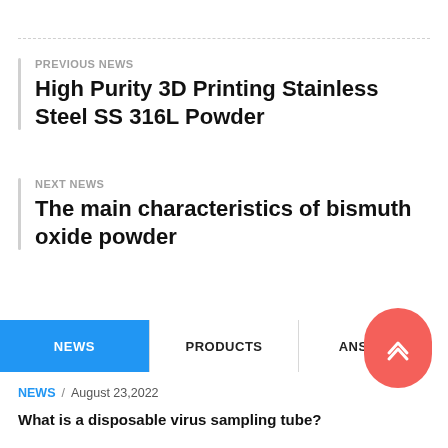PREVIOUS NEWS
High Purity 3D Printing Stainless Steel SS 316L Powder
NEXT NEWS
The main characteristics of bismuth oxide powder
NEWS   PRODUCTS   ANSWERS
NEWS / August 23,2022
What is a disposable virus sampling tube?